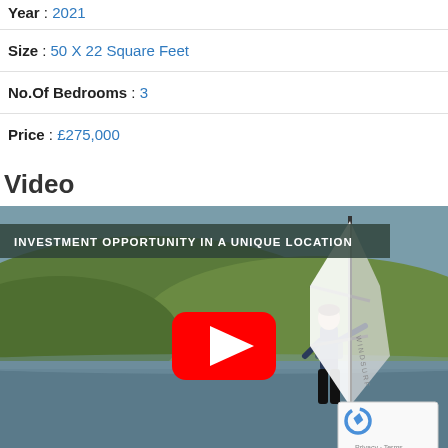Year : 2021
Size : 50 X 22 Square Feet
No.Of Bedrooms : 3
Price : £275,000
Video
[Figure (screenshot): Video thumbnail showing a windsurfer on a lake with green hills in background. Overlay text reads 'INVESTMENT OPPORTUNITY IN A UNIQUE LOCATION'. Red YouTube play button in center. reCAPTCHA badge in bottom right corner with Privacy and Terms links.]